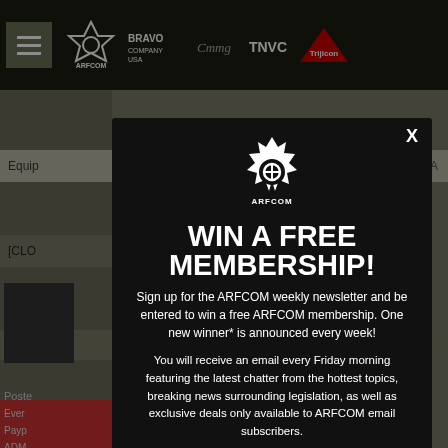[Figure (screenshot): Background of ARFCOM website with navigation bar showing logos: ARFCOM, Bravo Company USA, CMMG, TNVC, Trijicon. Below is a partial website page with sidebar content including text: Equip, [CLO, scrib, Posted, Ever, Payp, ADM, Unity, Troy. Right side shows: N, USA.]
[Figure (infographic): ARFCOM modal popup with gear logo, title WIN A FREE MEMBERSHIP!, subscription text for weekly newsletter and Friday morning email digest, with close X button and email input at bottom.]
WIN A FREE MEMBERSHIP!
Sign up for the ARFCOM weekly newsletter and be entered to win a free ARFCOM membership. One new winner* is announced every week!
You will receive an email every Friday morning featuring the latest chatter from the hottest topics, breaking news surrounding legislation, as well as exclusive deals only available to ARFCOM email subscribers.